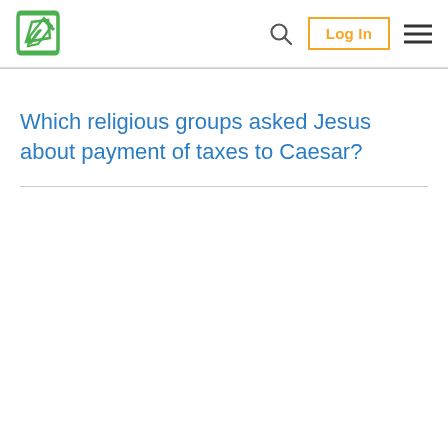Logo | Search | Log In | Menu
Which religious groups asked Jesus about payment of taxes to Caesar?